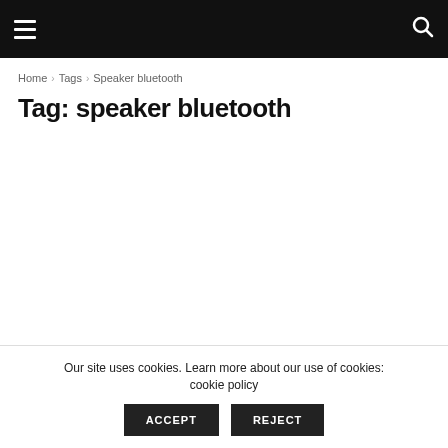≡ [hamburger menu] [search icon]
Home › Tags › Speaker bluetooth
Tag: speaker bluetooth
Our site uses cookies. Learn more about our use of cookies: cookie policy  ACCEPT  REJECT